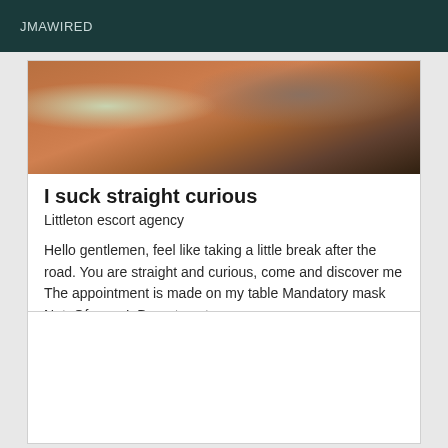JMAWIRED
[Figure (photo): Close-up photo of autumn leaves with orange/brown tones and some teal or green elements visible]
I suck straight curious
Littleton escort agency
Hello gentlemen, feel like taking a little break after the road. You are straight and curious, come and discover me The appointment is made on my table Mandatory mask Not. Of sms. I. Do not postpone